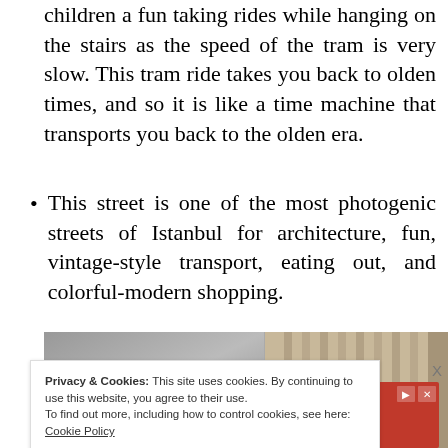children a fun taking rides while hanging on the stairs as the speed of the tram is very slow. This tram ride takes you back to olden times, and so it is like a time machine that transports you back to the olden era.
This street is one of the most photogenic streets of Istanbul for architecture, fun, vintage-style transport, eating out, and colorful-modern shopping.
[Figure (photo): Street scene photo of Istanbul showing a colorful busy street with Turkish flags and buildings]
Privacy & Cookies: This site uses cookies. By continuing to use this website, you agree to their use.
To find out more, including how to control cookies, see here: Cookie Policy
[Figure (screenshot): Advertisement banner: Your next hotel is waiting for you]